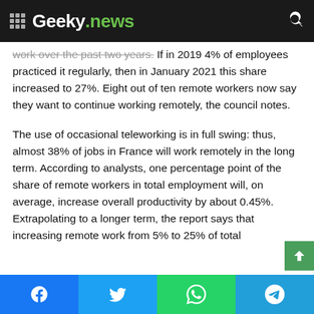Geeky.news
work over the past two years. If in 2019 4% of employees practiced it regularly, then in January 2021 this share increased to 27%. Eight out of ten remote workers now say they want to continue working remotely, the council notes.
The use of occasional teleworking is in full swing: thus, almost 38% of jobs in France will work remotely in the long term. According to analysts, one percentage point of the share of remote workers in total employment will, on average, increase overall productivity by about 0.45%. Extrapolating to a longer term, the report says that increasing remote work from 5% to 25% of total
Facebook | Twitter | WhatsApp | Telegram